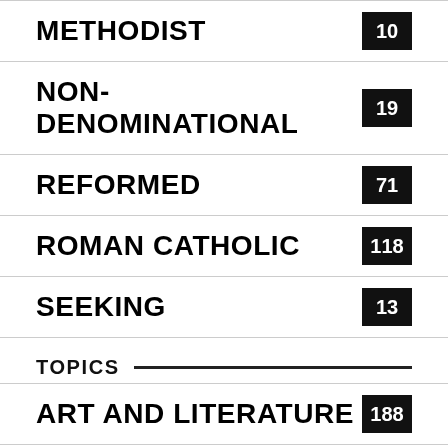METHODIST  10
NON-DENOMINATIONAL  19
REFORMED  71
ROMAN CATHOLIC  118
SEEKING  13
TOPICS
ART AND LITERATURE  188